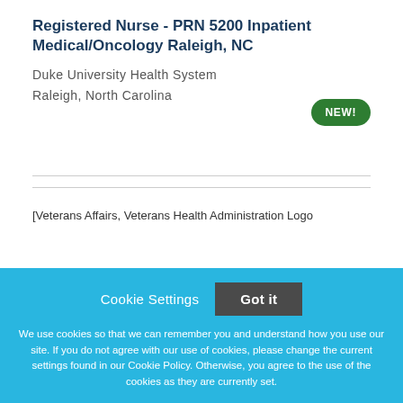Registered Nurse - PRN 5200 Inpatient Medical/Oncology Raleigh, NC
Duke University Health System
Raleigh, North Carolina
[Figure (logo): Veterans Affairs, Veterans Health Administration Logo (broken image placeholder)]
Cookie Settings   Got it
We use cookies so that we can remember you and understand how you use our site. If you do not agree with our use of cookies, please change the current settings found in our Cookie Policy. Otherwise, you agree to the use of the cookies as they are currently set.